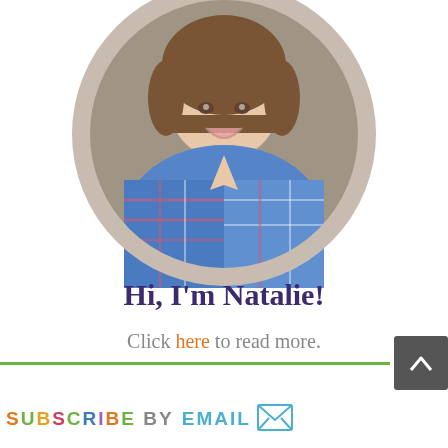[Figure (photo): Circular profile photo of a smiling woman with a short brown bob haircut, wearing a blue plaid short-sleeved shirt, on a gray background, framed by a tan/beige circular border.]
Hi, I'm Natalie!
Click here to read more.
[Figure (infographic): Green horizontal divider line and a dark gray scroll-to-top button with a caret/chevron up arrow on the right side.]
SUBSCRIBE BY EMAIL with envelope icon